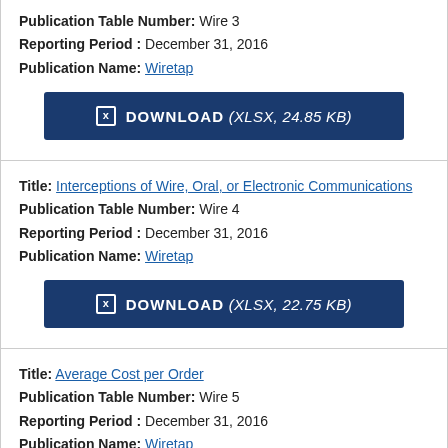Publication Table Number: Wire 3
Reporting Period : December 31, 2016
Publication Name: Wiretap
[Figure (other): Download button: DOWNLOAD (XLSX, 24.85 KB)]
Title: Interceptions of Wire, Oral, or Electronic Communications
Publication Table Number: Wire 4
Reporting Period : December 31, 2016
Publication Name: Wiretap
[Figure (other): Download button: DOWNLOAD (XLSX, 22.75 KB)]
Title: Average Cost per Order
Publication Table Number: Wire 5
Reporting Period : December 31, 2016
Publication Name: Wiretap